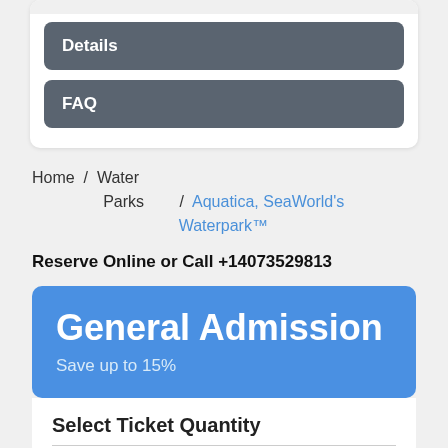Details
FAQ
Home / Water Parks / Aquatica, SeaWorld's Waterpark™
Reserve Online or Call +14073529813
General Admission
Save up to 15%
Select Ticket Quantity